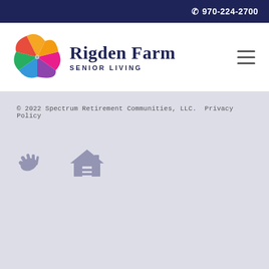📞 970-224-2700
[Figure (logo): Rigden Farm Senior Living logo with colorful pinwheel graphic and company name]
© 2022 Spectrum Retirement Communities, LLC.  Privacy Policy
[Figure (illustration): ASL (American Sign Language) hands icon and Equal Housing Opportunity icon]